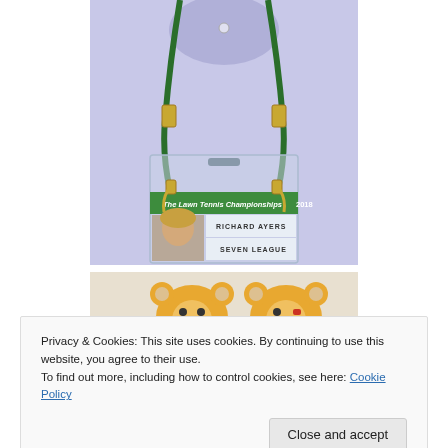[Figure (photo): Photo of a lanyard with green cord and gold clips attached to a transparent ID badge holder showing a Wimbledon accreditation card reading 'The Lawn Tennis Championships 2018', with a photo of a person on the left and text 'RICHARD AYERS' and 'SEVEN LEAGUE' on the right. Person is wearing a light blue/lavender shirt.]
[Figure (photo): Photo of two yellow bear-face shaped items (likely USB drives or small gadgets), one smiling with a red mouth and one with a different expression, on a light background.]
Privacy & Cookies: This site uses cookies. By continuing to use this website, you agree to their use.
To find out more, including how to control cookies, see here: Cookie Policy
[Figure (photo): Partial photo at bottom showing colorful items, partially visible.]